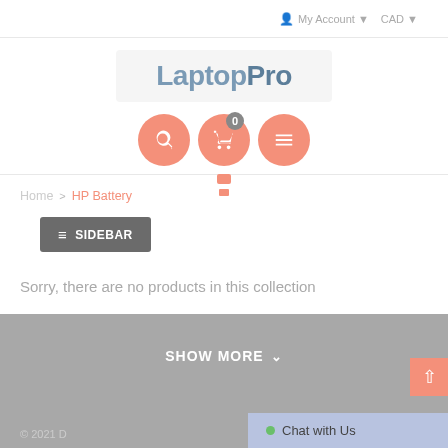My Account  CAD
[Figure (logo): LaptopPro logo in blue-grey text on light grey background]
[Figure (illustration): Three salmon/coral circular icon buttons: search, cart (with badge showing 0), and menu]
Home > HP Battery
≡ SIDEBAR
Sorry, there are no products in this collection
SHOW MORE ∨
© 2021 D...   Chat with Us